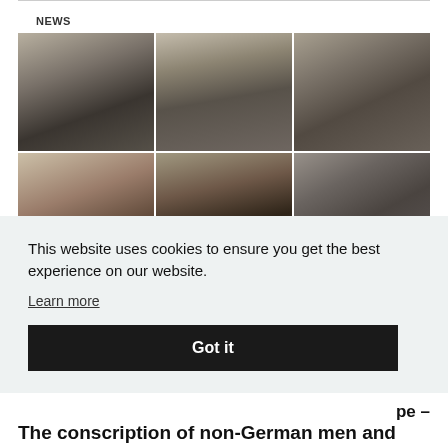NEWS
[Figure (photo): Grid of black-and-white portrait photographs of men and women, some in military uniforms, arranged in two rows of three to four photos each.]
This website uses cookies to ensure you get the best experience on our website.
Learn more
Got it
pe — The conscription of non-German men and